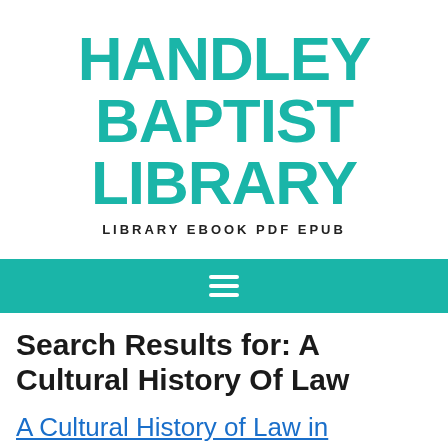HANDLEY BAPTIST LIBRARY
LIBRARY EBOOK PDF EPUB
[Figure (other): Navigation menu bar with hamburger icon (three horizontal white lines) on teal/green background]
Search Results for: A Cultural History Of Law
A Cultural History of Law in Antiquity